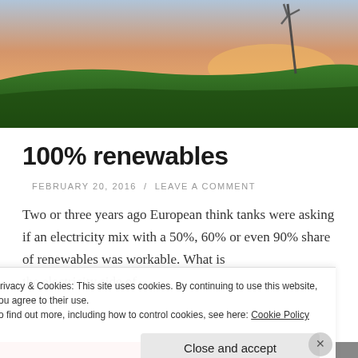[Figure (photo): Hero image of a green field at sunset with a wind turbine silhouetted against an orange sky.]
100% renewables
FEBRUARY 20, 2016 / LEAVE A COMMENT
Two or three years ago European think tanks were asking if an electricity mix with a 50%, 60% or even 90% share of renewables was workable. What is the electricity mix which the electricity side of...
Privacy & Cookies: This site uses cookies. By continuing to use this website, you agree to their use.
To find out more, including how to control cookies, see here: Cookie Policy
Close and accept